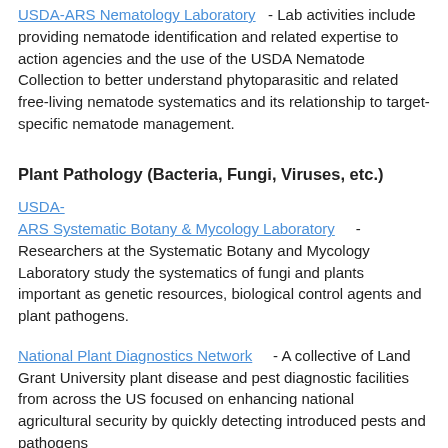USDA-ARS Nematology Laboratory - Lab activities include providing nematode identification and related expertise to action agencies and the use of the USDA Nematode Collection to better understand phytoparasitic and related free-living nematode systematics and its relationship to target-specific nematode management.
Plant Pathology (Bacteria, Fungi, Viruses, etc.)
USDA-ARS Systematic Botany & Mycology Laboratory - Researchers at the Systematic Botany and Mycology Laboratory study the systematics of fungi and plants important as genetic resources, biological control agents and plant pathogens.
National Plant Diagnostics Network - A collective of Land Grant University plant disease and pest diagnostic facilities from across the US focused on enhancing national agricultural security by quickly detecting introduced pests and pathogens